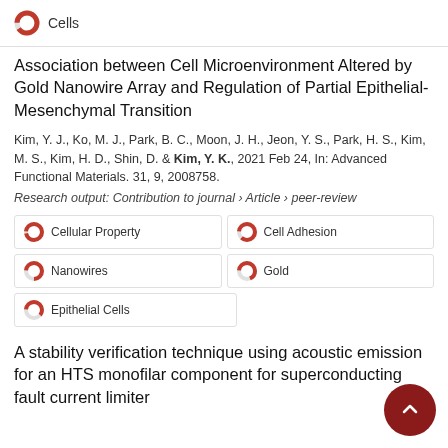Cells
Association between Cell Microenvironment Altered by Gold Nanowire Array and Regulation of Partial Epithelial-Mesenchymal Transition
Kim, Y. J., Ko, M. J., Park, B. C., Moon, J. H., Jeon, Y. S., Park, H. S., Kim, M. S., Kim, H. D., Shin, D. & Kim, Y. K., 2021 Feb 24, In: Advanced Functional Materials. 31, 9, 2008758.
Research output: Contribution to journal › Article › peer-review
Cellular Property
Cell Adhesion
Nanowires
Gold
Epithelial Cells
A stability verification technique using acoustic emission for an HTS monofilar component for superconducting fault current limiter